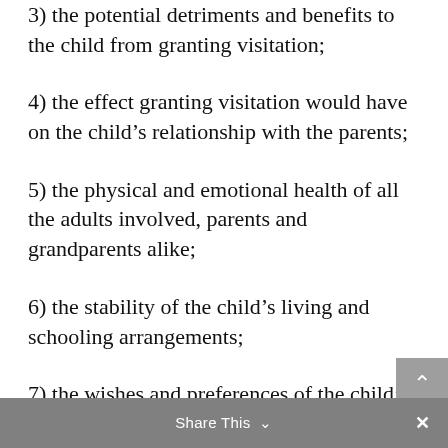3) the potential detriments and benefits to the child from granting visitation;
4) the effect granting visitation would have on the child’s relationship with the parents;
5) the physical and emotional health of all the adults involved, parents and grandparents alike;
6) the stability of the child’s living and schooling arrangements;
7) the wishes and preferences of the child; and
Share This ∨  ×